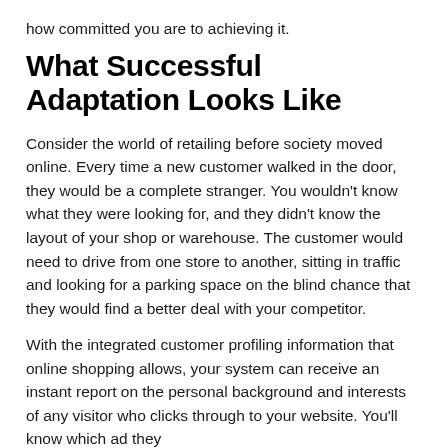how committed you are to achieving it.
What Successful Adaptation Looks Like
Consider the world of retailing before society moved online. Every time a new customer walked in the door, they would be a complete stranger. You wouldn't know what they were looking for, and they didn't know the layout of your shop or warehouse. The customer would need to drive from one store to another, sitting in traffic and looking for a parking space on the blind chance that they would find a better deal with your competitor.
With the integrated customer profiling information that online shopping allows, your system can receive an instant report on the personal background and interests of any visitor who clicks through to your website. You'll know which ad they